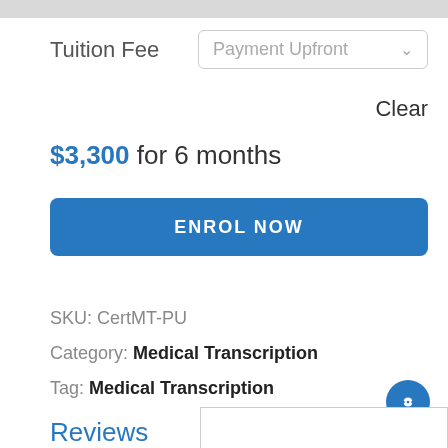Tuition Fee
Payment Upfront
Clear
$3,300 for 6 months
ENROL NOW
SKU: CertMT-PU
Category: Medical Transcription
Tag: Medical Transcription
Reviews